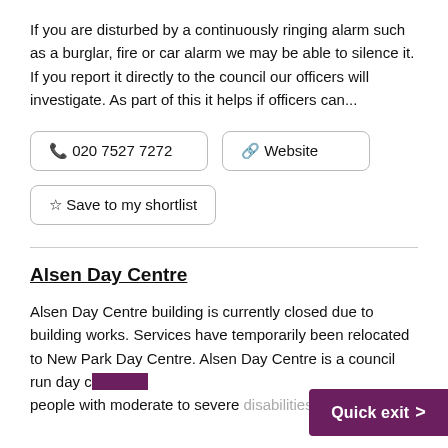If you are disturbed by a continuously ringing alarm such as a burglar, fire or car alarm we may be able to silence it. If you report it directly to the council our officers will investigate. As part of this it helps if officers can...
📞 020 7527 7272
🔗 Website
☆ Save to my shortlist
Alsen Day Centre
Alsen Day Centre building is currently closed due to building works. Services have temporarily been relocated to New Park Day Centre. Alsen Day Centre is a council run day c… people with moderate to severe disabilities. The